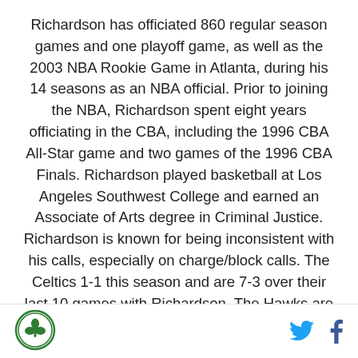Richardson has officiated 860 regular season games and one playoff game, as well as the 2003 NBA Rookie Game in Atlanta, during his 14 seasons as an NBA official. Prior to joining the NBA, Richardson spent eight years officiating in the CBA, including the 1996 CBA All-Star game and two games of the 1996 CBA Finals. Richardson played basketball at Los Angeles Southwest College and earned an Associate of Arts degree in Criminal Justice. Richardson is known for being inconsistent with his calls, especially on charge/block calls. The Celtics 1-1 this season and are 7-3 over their last 10 games with Richardson. The Hawks are 2-0 this season and 5-5 over their last 10 games with Richardson as a ref. Not affected by the
Logo and social media icons